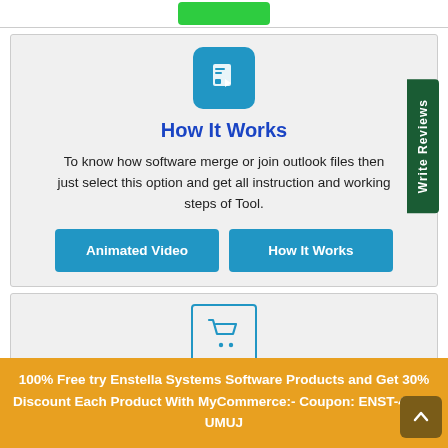[Figure (illustration): Green button at the top of the page (partially visible)]
[Figure (illustration): Blue rounded square icon with a document/video file icon in white]
How It Works
To know how software merge or join outlook files then just select this option and get all instruction and working steps of Tool.
[Figure (illustration): Two blue buttons: 'Animated Video' and 'How It Works'. A dark green 'Write Reviews' vertical tab on the right.]
[Figure (illustration): Shopping cart icon in blue inside a bordered box (partially visible at the bottom)]
100% Free try Enstella Systems Software Products and Get 30% Discount Each Product With MyCommerce:- Coupon: ENST-434K-UMUJ